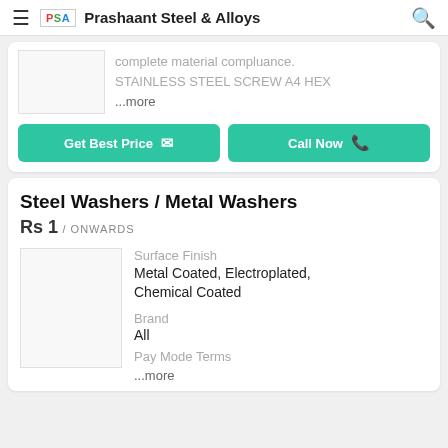Prashaant Steel & Alloys
complete material compluance. STAINLESS STEEL SCREW A4 HEX ...more
Get Best Price   Call Now
Steel Washers / Metal Washers
Rs 1 / ONWARDS
Surface Finish
Metal Coated, Electroplated, Chemical Coated
Brand
All
Pay Mode Terms
...more